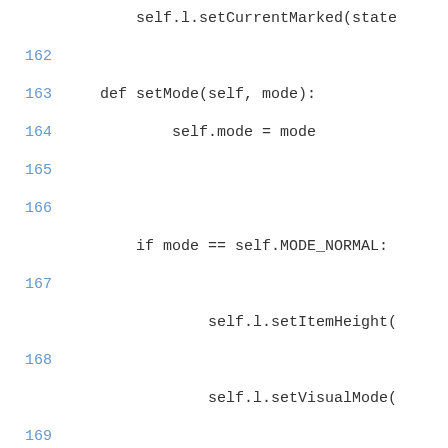self.l.setCurrentMarked(state
162
163    def setMode(self, mode):
164            self.mode = mode
165
166
if mode == self.MODE_NORMAL:
167
self.l.setItemHeight(
168
self.l.setVisualMode(
169
self.l.setElementFont
170
self.l.setElementPosi
171
self.l.setElementFont
172        else:
173
self.l.setItemHeight(